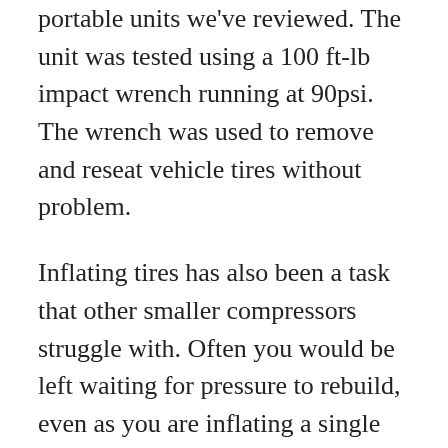portable units we've reviewed. The unit was tested using a 100 ft-lb impact wrench running at 90psi. The wrench was used to remove and reseat vehicle tires without problem.
Inflating tires has also been a task that other smaller compressors struggle with. Often you would be left waiting for pressure to rebuild, even as you are inflating a single tire. This compressor has no trouble inflating a standard vehicle tire from 0 to 35psi without interruption. The compressor will kick in and ensure that there is steady airflow, even while it continues to fill the tank.
Airbrushing for detailing or smaller projects is